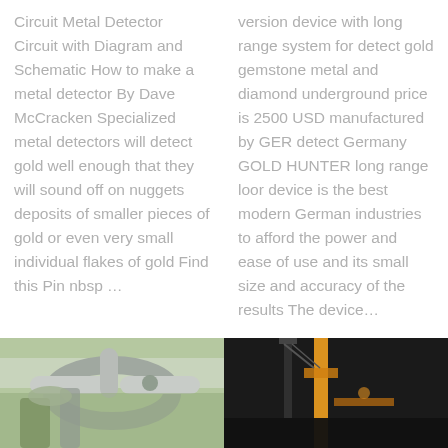Circuit Metal Detector Circuit with Diagram and Schematic How to make a metal detector By Dave McCracken Specialized metal detectors will detect gold well enough that they will sound off on nuggets deposits of smaller pieces of gold or even very small individual flakes of gold Find this Pin nbsp …
version device with long range system for detect gold gemstone metal and diamond underground price is 2500 USD manufactured by GER detect Germany GOLD HUNTER long range loor device is the best modern German industries to afford the power and ease of use and its small size and accuracy of the results The device…
[Figure (photo): Photo of industrial pipes and equipment, greenish/grey tones, outdoor setting]
[Figure (photo): Dark photo of crane or construction equipment with yellow/orange element visible]